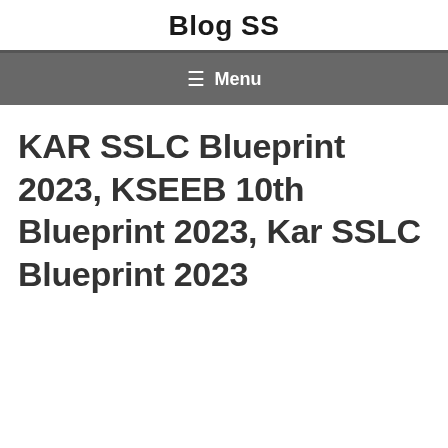Blog SS
≡ Menu
KAR SSLC Blueprint 2023, KSEEB 10th Blueprint 2023, Kar SSLC Blueprint 2023